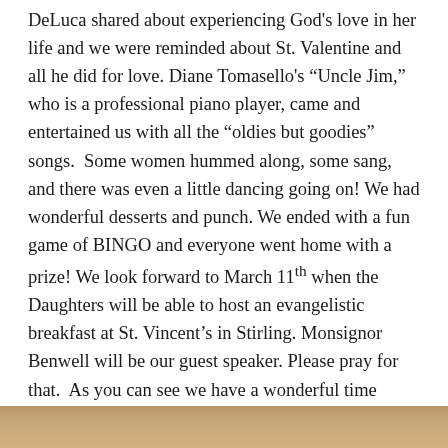DeLuca shared about experiencing God's love in her life and we were reminded about St. Valentine and all he did for love. Diane Tomasello's “Uncle Jim,” who is a professional piano player, came and entertained us with all the “oldies but goodies” songs. Some women hummed along, some sang, and there was even a little dancing going on! We had wonderful desserts and punch. We ended with a fun game of BINGO and everyone went home with a prize! We look forward to March 11th when the Daughters will be able to host an evangelistic breakfast at St. Vincent’s in Stirling. Monsignor Benwell will be our guest speaker. Please pray for that. As you can see we have a wonderful time together with lots of joy and fellowship. God is good!
[Figure (photo): Partial view of a photo at the bottom of the page, showing an outdoor or event scene, mostly cropped.]